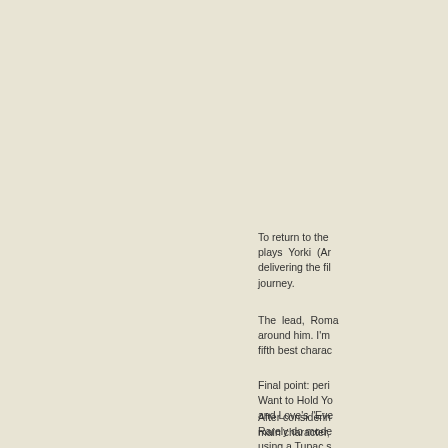To return to the plays Yorki (Ar delivering the fil journey.
The lead, Roma around him. I'm fifth best charac
Final point: peri Want to Hold Yo and Love's "Eve Rarely do mode using a Tupac s then you haven'
After considerin main character,